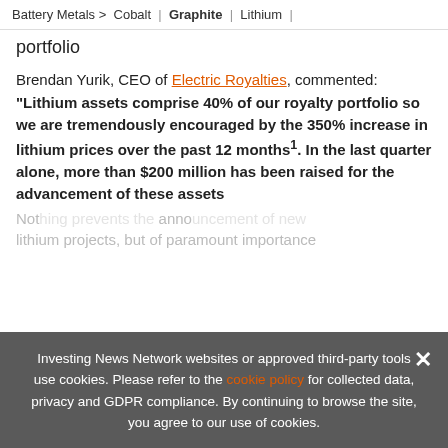Battery Metals > Cobalt | Graphite | Lithium |
portfolio
Brendan Yurik, CEO of Electric Royalties, commented: "Lithium assets comprise 40% of our royalty portfolio so we are tremendously encouraged by the 350% increase in lithium prices over the past 12 months¹. In the last quarter alone, more than $200 million has been raised for the advancement of these assets
Not... anno... lithium projects, but of paramount importance
[Figure (infographic): Advertisement banner: Updated Aug 11, 2022, INN logo, 2022 Critical Metals Outlook Report - TOP CRITICAL METALS Stocks, Trends, Expert Forecasts, with book cover image]
Investing News Network websites or approved third-party tools use cookies. Please refer to the cookie policy for collected data, privacy and GDPR compliance. By continuing to browse the site, you agree to our use of cookies.